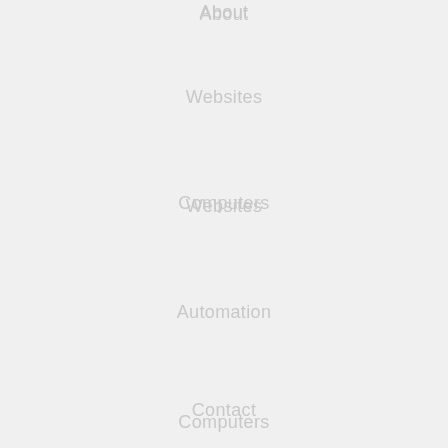About
Websites
Computers
Automation
Contact